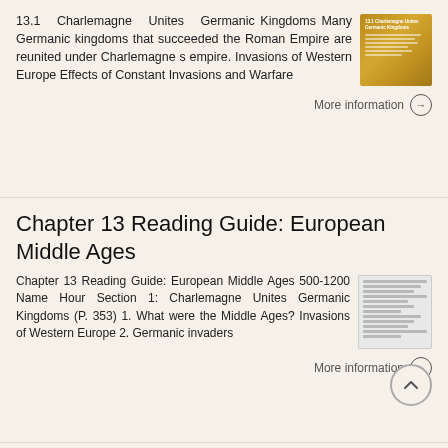13.1 Charlemagne Unites Germanic Kingdoms Many Germanic kingdoms that succeeded the Roman Empire are reunited under Charlemagne s empire. Invasions of Western Europe Effects of Constant Invasions and Warfare
[Figure (illustration): Thumbnail image with orange/brown background showing text about Charlemagne Unites Germanic Kingdoms]
More information →
Chapter 13 Reading Guide: European Middle Ages
Chapter 13 Reading Guide: European Middle Ages 500-1200 Name Hour Section 1: Charlemagne Unites Germanic Kingdoms (P. 353) 1. What were the Middle Ages? Invasions of Western Europe 2. Germanic invaders
[Figure (screenshot): Thumbnail image of a document with lines of text resembling a reading guide worksheet]
More information →
CONTENTS: How to Use This Guide 5